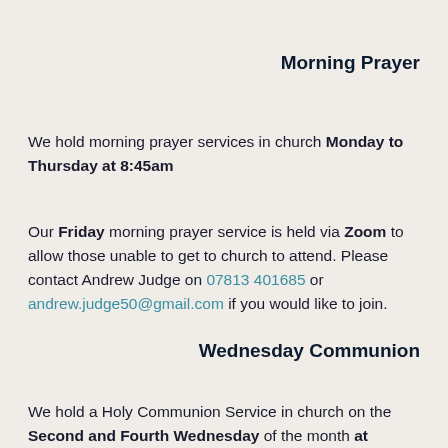Morning Prayer
We hold morning prayer services in church Monday to Thursday at 8:45am
Our Friday morning prayer service is held via Zoom to allow those unable to get to church to attend. Please contact Andrew Judge on 07813 401685 or andrew.judge50@gmail.com if you would like to join.
Wednesday Communion
We hold a Holy Communion Service in church on the Second and Fourth Wednesday of the month at 10:30am followed by Coffee Morning with the